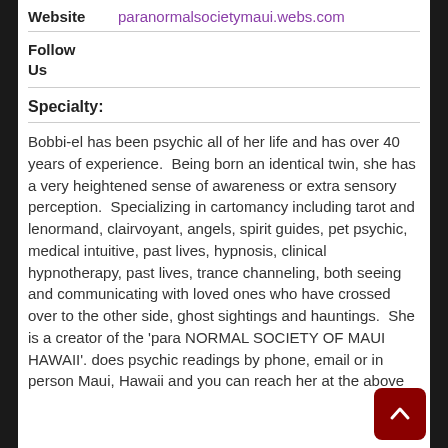Website   paranormalsocietymaui.webs.com
Follow Us
Specialty:
Bobbi-el has been psychic all of her life and has over 40 years of experience.  Being born an identical twin, she has a very heightened sense of awareness or extra sensory perception.  Specializing in cartomancy including tarot and lenormand, clairvoyant, angels, spirit guides, pet psychic, medical intuitive, past lives, hypnosis, clinical hypnotherapy, past lives, trance channeling, both seeing and communicating with loved ones who have crossed over to the other side, ghost sightings and hauntings.  She is a creator of the 'para NORMAL SOCIETY OF MAUI HAWAII'. does psychic readings by phone, email or in person Maui, Hawaii and you can reach her at the above